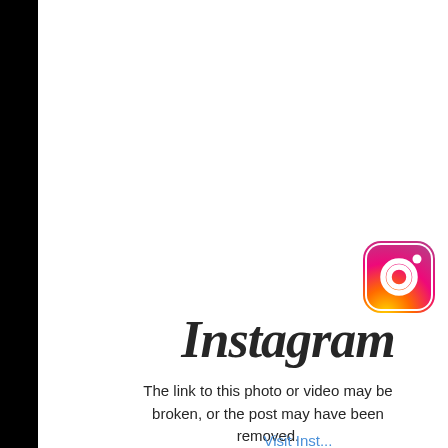[Figure (logo): Instagram logo icon — camera icon with gradient from yellow-orange to pink-magenta with rounded square border]
Instagram
The link to this photo or video may be broken, or the post may have been removed.
Visit Inst...